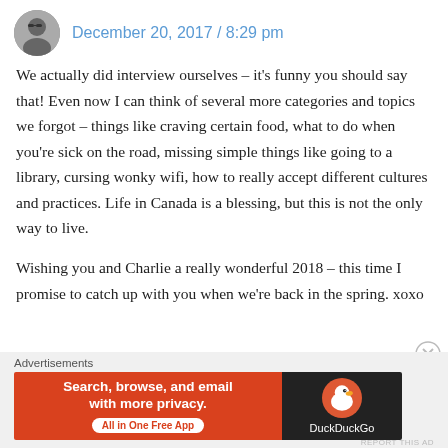December 20, 2017 / 8:29 pm
We actually did interview ourselves – it's funny you should say that! Even now I can think of several more categories and topics we forgot – things like craving certain food, what to do when you're sick on the road, missing simple things like going to a library, cursing wonky wifi, how to really accept different cultures and practices. Life in Canada is a blessing, but this is not the only way to live.
Wishing you and Charlie a really wonderful 2018 – this time I promise to catch up with you when we're back in the spring. xoxo
Advertisements
[Figure (screenshot): DuckDuckGo advertisement banner: orange left section with text 'Search, browse, and email with more privacy. All in One Free App', dark right section with DuckDuckGo duck logo and brand name.]